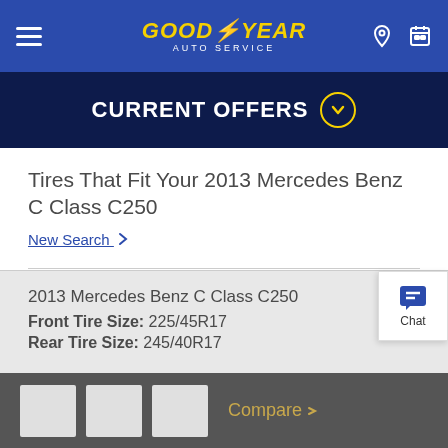[Figure (logo): Goodyear Auto Service logo on blue navigation bar with hamburger menu, location icon, and calendar icon]
CURRENT OFFERS
Tires That Fit Your 2013 Mercedes Benz C Class C250
New Search >
2013 Mercedes Benz C Class C250
Front Tire Size: 225/45R17
Rear Tire Size: 245/40R17
Your Vehicle's Tire Specs
Compare >